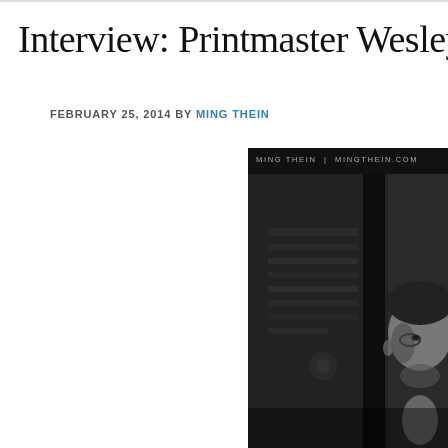Interview: Printmaster Wesley W
FEBRUARY 25, 2014 BY MING THEIN
[Figure (photo): Black and white portrait photograph of a man, with watermark text 'MING THEIN | MINGTHEIN.COM' at the top. The subject is partially visible, cropped, set against a blurred background.]